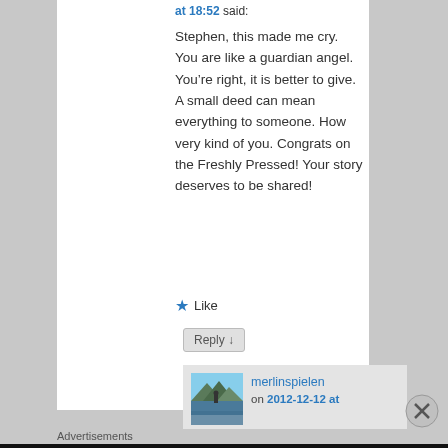at 18:52 said:
Stephen, this made me cry. You are like a guardian angel. You’re right, it is better to give. A small deed can mean everything to someone. How very kind of you. Congrats on the Freshly Pressed! Your story deserves to be shared!
★ Like
Reply ↓
merlinspielen
on 2012-12-12 at
Advertisements
Fewer meetings, more work.